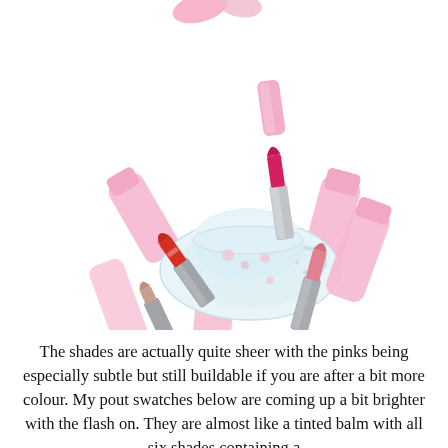[Figure (photo): A flatlay overhead photo showing multiple pink lipstick cases and lipsticks scattered around a floral blue teacup and saucer. Lipstick shades visible include red, coral/pink, and nude. The background is white.]
The shades are actually quite sheer with the pinks being especially subtle but still buildable if you are after a bit more colour. My pout swatches below are coming up a bit brighter with the flash on. They are almost like a tinted balm with all six shades containing a